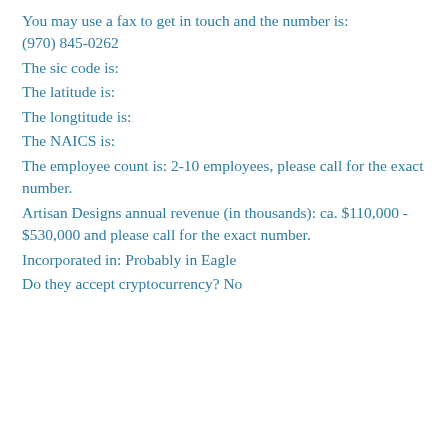You may use a fax to get in touch and the number is: (970) 845-0262
The sic code is:
The latitude is:
The longtitude is:
The NAICS is:
The employee count is: 2-10 employees, please call for the exact number.
Artisan Designs annual revenue (in thousands): ca. $110,000 - $530,000 and please call for the exact number.
Incorporated in: Probably in Eagle
Do they accept cryptocurrency? No